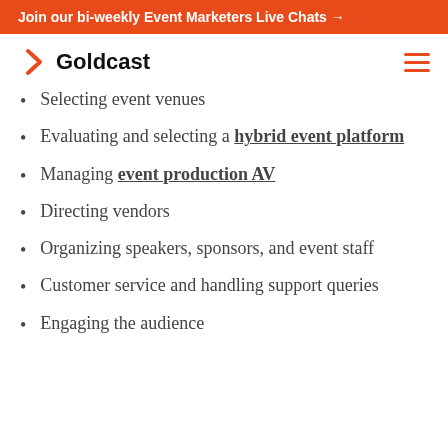Join our bi-weekly Event Marketers Live Chats →
[Figure (logo): Goldcast logo with orange chevron/arrow symbol and bold text 'Goldcast']
Selecting event venues
Evaluating and selecting a hybrid event platform
Managing event production AV
Directing vendors
Organizing speakers, sponsors, and event staff
Customer service and handling support queries
Engaging the audience